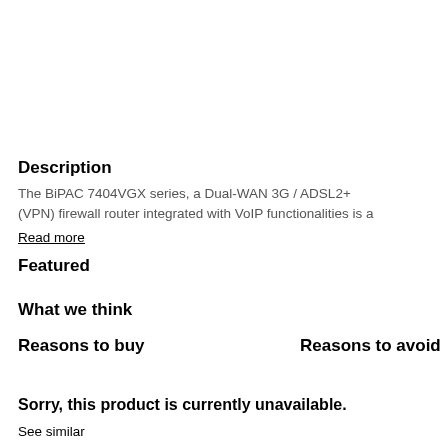Description
The BiPAC 7404VGX series, a Dual-WAN 3G / ADSL2+ (VPN) firewall router integrated with VoIP functionalities is a
Read more
Featured
What we think
Reasons to buy
Reasons to avoid
Sorry, this product is currently unavailable.
See similar